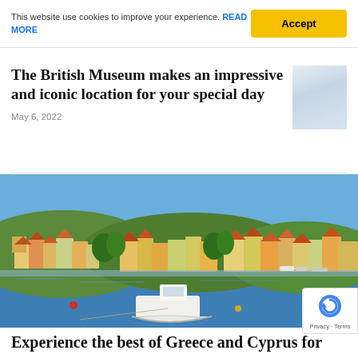This website use cookies to improve your experience. READ MORE
Accept
The British Museum makes an impressive and iconic location for your special day
May 6, 2022
[Figure (photo): Thumbnail image, blurred/light colored background]
[Figure (photo): Scenic photo of a Greek or Cypriot harbour town with colourful buildings on a hillside, blue sea, and a white boat in foreground]
Experience the best of Greece and Cyprus for